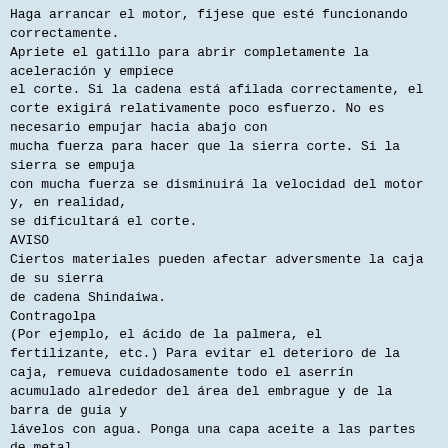Haga arrancar el motor, fijese que esté funcionando correctamente.
Apriete el gatillo para abrir completamente la aceleración y empiece
el corte. Si la cadena está afilada correctamente, el corte exigirá relativamente poco esfuerzo. No es necesario empujar hacia abajo con
mucha fuerza para hacer que la sierra corte. Si la sierra se empuja
con mucha fuerza se disminuirá la velocidad del motor y, en realidad,
se dificultará el corte.
AVISO
Ciertos materiales pueden afectar adversmente la caja de su sierra
de cadena Shindaiwa.
Contragolpa
(Por ejemplo, el ácido de la palmera, el fertilizante, etc.) Para evitar el deterioro de la caja, remueva cuidadosamente todo el aserrín acumulado alrededor del área del embrague y de la barra de guia y
lávelos con agua. Ponga una capa aceite a las partes de metal.
ADVERTENCIA
PELIGRO
No deje que la punta de la barra toque algo cuando el motor está
funcionando. A la velocidad de corte, la cadena se está moviendo a una velocidad alta. Si la punta contacta una rama o leño
mientras la cadena se está moviendo, la punta sera empujada